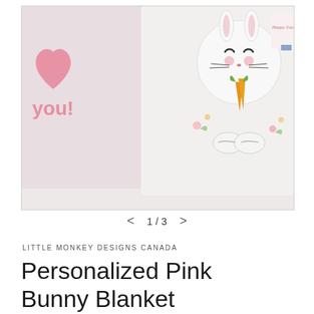[Figure (photo): Product photo showing personalized pink bunny blankets with floral and bunny face designs. One blanket has pink text 'you!' with a heart, another shows a white bunny face with orange carrots and black whiskers. A third item with 'Happy Easter' text is partially visible on the right.]
1 / 3
LITTLE MONKEY DESIGNS CANADA
Personalized Pink Bunny Blanket